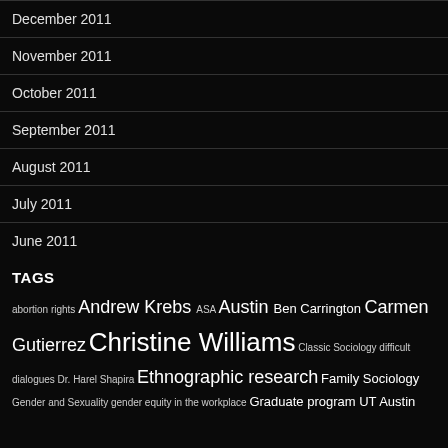December 2011
November 2011
October 2011
September 2011
August 2011
July 2011
June 2011
TAGS
abortion rights Andrew Krebs ASA Austin Ben Carrington Carmen Gutierrez Christine Williams Classic Sociology difficult dialogues Dr. Harel Shapira Ethnographic research Family Sociology Gender and Sexuality gender equity in the workplace Graduate program UT Austin